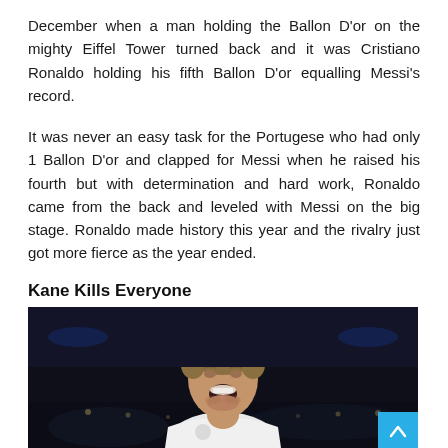December when a man holding the Ballon D'or on the mighty Eiffel Tower turned back and it was Cristiano Ronaldo holding his fifth Ballon D'or equalling Messi's record.
It was never an easy task for the Portugese who had only 1 Ballon D'or and clapped for Messi when he raised his fourth but with determination and hard work, Ronaldo came from the back and leveled with Messi on the big stage. Ronaldo made history this year and the rivalry just got more fierce as the year ended.
Kane Kills Everyone
[Figure (photo): A football player in a white Tottenham Hotspur jersey celebrating with mouth open wide, photographed against a dark stadium background with blue lights.]